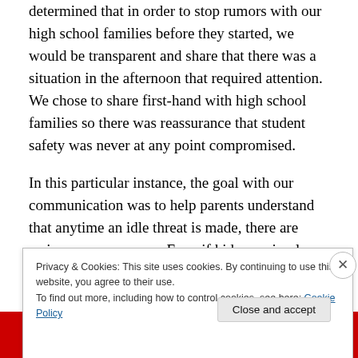determined that in order to stop rumors with our high school families before they started, we would be transparent and share that there was a situation in the afternoon that required attention. We chose to share first-hand with high school families so there was reassurance that student safety was never at any point compromised.
In this particular instance, the goal with our communication was to help parents understand that anytime an idle threat is made, there are serious consequences. Even if kids are simply being irresponsible in conversation, the consequences are the same. We will not tolerate such
Privacy & Cookies: This site uses cookies. By continuing to use this website, you agree to their use.
To find out more, including how to control cookies, see here: Cookie Policy
Close and accept